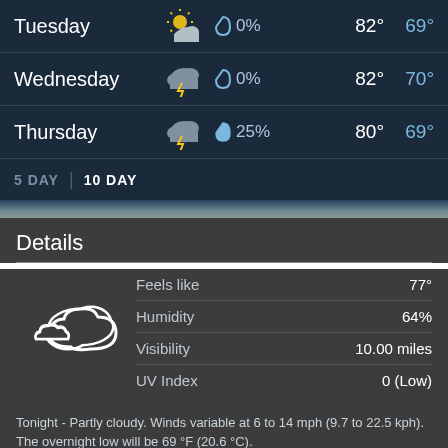| Day | Icon | Precip | High | Low |
| --- | --- | --- | --- | --- |
| Tuesday | partly cloudy | 0% | 82° | 69° |
| Wednesday | thunderstorm cloud | 0% | 82° | 70° |
| Thursday | thunderstorm cloud | 25% | 80° | 69° |
5 DAY | 10 DAY
Details
| Label | Value |
| --- | --- |
| Feels like | 77° |
| Humidity | 64% |
| Visibility | 10.00 miles |
| UV Index | 0 (Low) |
Tonight - Partly cloudy. Winds variable at 6 to 14 mph (9.7 to 22.5 kph). The overnight low will be 69 °F (20.6 °C).
Today - Partly cloudy with a high of 78 °F (25.6 °C). Winds variable at 6 to 14 mph (9.7 to 22.5 kph).